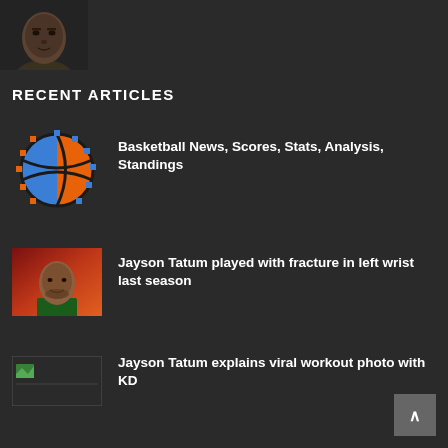[Figure (photo): Profile photo of a basketball player (dark background headshot)]
RECENT ARTICLES
[Figure (logo): Basketball news site logo - pixelated basketball icon in blue and orange]
Basketball News, Scores, Stats, Analysis, Standings
[Figure (photo): Jayson Tatum photo with red-orange gradient background]
Jayson Tatum played with fracture in left wrist last season
[Figure (photo): Broken/loading image thumbnail]
Jayson Tatum explains viral workout photo with KD